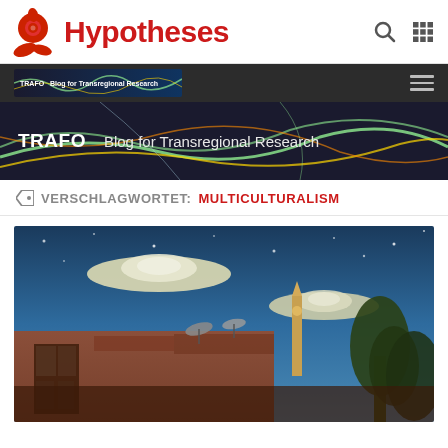[Figure (logo): Hypotheses platform logo with red flower/spiral icon and red bold 'Hypotheses' text, with search and grid nav icons on the right]
[Figure (screenshot): Dark navigation bar showing TRAFO blog thumbnail and hamburger menu icon]
[Figure (photo): Dark banner with colorful light trails/wires on dark background showing TRAFO Blog for Transregional Research title in white text]
VERSCHLAGWORTET: MULTICULTURALISM
[Figure (photo): Photo of an old building with UFO-shaped clouds in a blue night sky, satellite dishes on the roof, and trees on the right side]